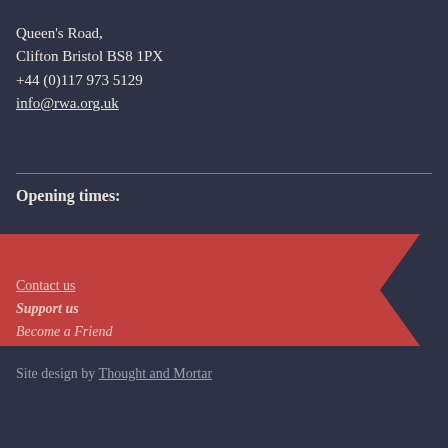Queen's Road,
Clifton Bristol BS8 1PX
+44 (0)117 973 5129
info@rwa.org.uk
Opening times:
Tuesday - Sunday: 10am - 5pm
Open Late on Weds until 8pm
Closed Mondays (except for Bank Holidays)
Contact us
Support us
Become a Friend
Site design by Thought and Mortar